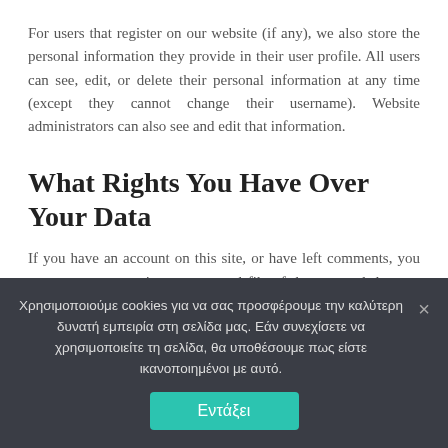For users that register on our website (if any), we also store the personal information they provide in their user profile. All users can see, edit, or delete their personal information at any time (except they cannot change their username). Website administrators can also see and edit that information.
What Rights You Have Over Your Data
If you have an account on this site, or have left comments, you can request to receive an exported file of the personal data we hold about you, including any data you have provided to us. You can also request that we erase any personal data we hold about you. This does not include any data we are obliged to keep for
Χρησιμοποιούμε cookies για να σας προσφέρουμε την καλύτερη δυνατή εμπειρία στη σελίδα μας. Εάν συνεχίσετε να χρησιμοποιείτε τη σελίδα, θα υποθέσουμε πως είστε ικανοποιημένοι με αυτό.